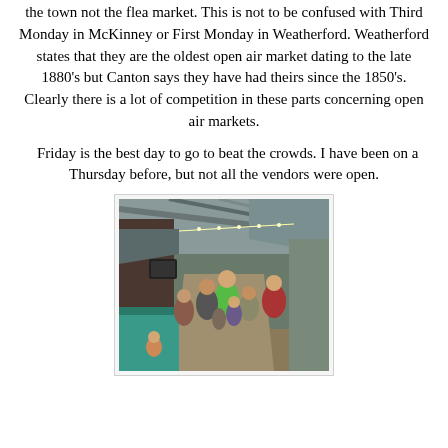the town not the flea market. This is not to be confused with Third Monday in McKinney or First Monday in Weatherford. Weatherford states that they are the oldest open air market dating to the late 1880's but Canton says they have had theirs since the 1850's. Clearly there is a lot of competition in these parts concerning open air markets.
Friday is the best day to go to beat the crowds. I have been on a Thursday before, but not all the vendors were open.
[Figure (photo): Indoor/covered market aisle with vendors and shoppers walking through. Metal roof structure visible. People in casual clothes browsing stalls.]